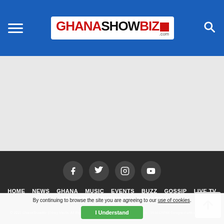GhanaShowBiz.com — navigation header with logo and search icon
[Figure (screenshot): Light gray empty content area (advertisement placeholder)]
Social icons: Facebook, Twitter, Instagram, YouTube. Nav: HOME NEWS GHANA MUSIC EVENTS BUZZ GOSSIP LIVE TV CONTACT ADVERTISE PRIVACY
© 2021 GhanaShowBiz |Odrey Media. All Rights Reserved. For any Inquiries Contact Us : 0544428598 Designed with citizen kwa...
By continuing to browse the site you are agreeing to our use of cookies.
I Understand